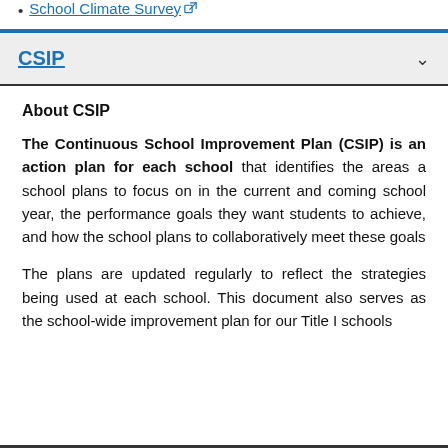School Climate Survey ↗
CSIP
About CSIP
The Continuous School Improvement Plan (CSIP) is an action plan for each school that identifies the areas a school plans to focus on in the current and coming school year, the performance goals they want students to achieve, and how the school plans to collaboratively meet these goals
The plans are updated regularly to reflect the strategies being used at each school. This document also serves as the school-wide improvement plan for our Title I schools